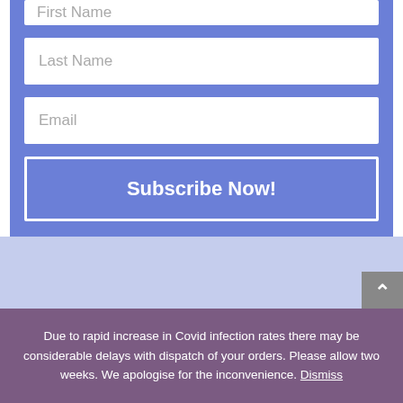[Figure (screenshot): Subscription form with Last Name input field placeholder text]
[Figure (screenshot): Subscription form with Email input field placeholder text]
[Figure (screenshot): Subscribe Now! button with white border on blue background]
Due to rapid increase in Covid infection rates there may be considerable delays with dispatch of your orders. Please allow two weeks. We apologise for the inconvenience. Dismiss